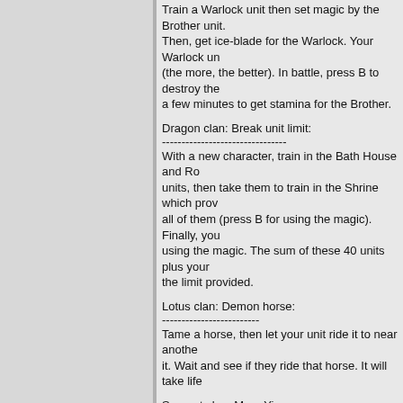Train a Warlock unit then set magic by the Brother unit. Then, get ice-blade for the Warlock. Your Warlock unit (the more, the better). In battle, press B to destroy the a few minutes to get stamina for the Brother.
Dragon clan: Break unit limit:
--------------------------------
With a new character, train in the Bath House and Ro units, then take them to train in the Shrine which prov all of them (press B for using the magic). Finally, you using the magic. The sum of these 40 units plus your the limit provided.
Lotus clan: Demon horse:
-------------------------
Tame a horse, then let your unit ride it to near anothe it. Wait and see if they ride that horse. It will take life
Serpent clan: More Yin:
------------------------
Select a Ronin trained with the Yin Blade accompani will generate twice the amount of Yin that two Ronins
Wolf clan: Ballistaman's bullet converts to totem:
--------------------------------------------------
Note this trick will make the Ballistaman's bullet conv enemies weak while you becomes stronger. Make as them. Click the Ballistaman, press B, then click on th N at least three times. If an enemy approaches your with arrows made of Totem (infinite).
Destroy Building Instantly:
----------------------